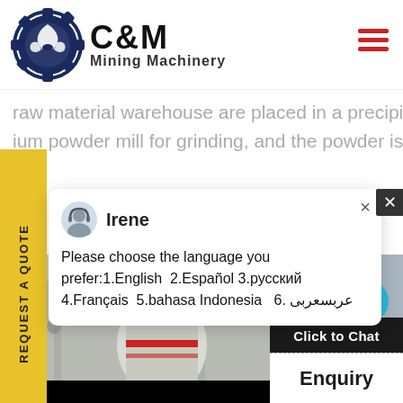[Figure (logo): C&M Mining Machinery logo with eagle in gear circle emblem and text]
raw material warehouse are placed in a precipitated ium powder mill for grinding, and the powder is
REQUEST A QUOTE
Irene
Please choose the language you prefer:1.English  2.Español  3.русский  4.Français  5.bahasa Indonesia   6. عربسعربی
bonate can be divided into the
[Figure (photo): Factory floor with industrial machinery and equipment]
[Figure (photo): Customer service agent wearing headset, smiling, with notification badge showing number 1]
Click to Chat
Enquiry